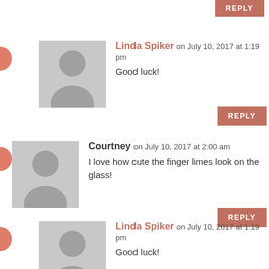REPLY (partial, top)
Linda Spiker on July 10, 2017 at 1:19 pm
Good luck!
REPLY
Courtney on July 10, 2017 at 2:00 am
I love how cute the finger limes look on the glass!
REPLY
Linda Spiker on July 10, 2017 at 1:19 pm
Good luck!